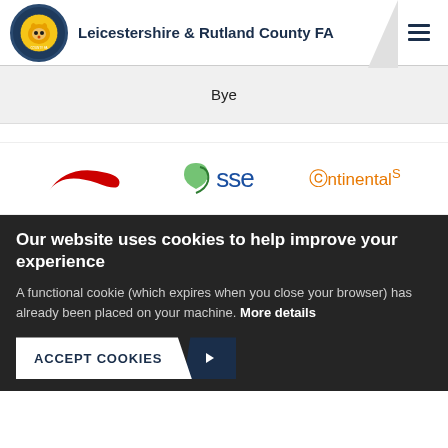Leicestershire & Rutland County FA
Bye
[Figure (logo): Sponsor logos: Nike swoosh (red), SSE logo (blue/green), Continental logo (orange)]
Our website uses cookies to help improve your experience
A functional cookie (which expires when you close your browser) has already been placed on your machine. More details
ACCEPT COOKIES